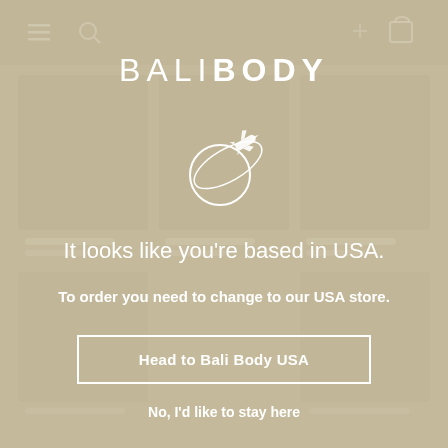[Figure (screenshot): Blurred/faded background showing a website (Bali Body store) with product images and navigation elements]
BALIBODY
[Figure (illustration): Globe with airplane icon flying around it, drawn in white outline style]
It looks like you're based in USA.
To order you need to change to our USA store.
Head to Bali Body USA
No, I'd like to stay here